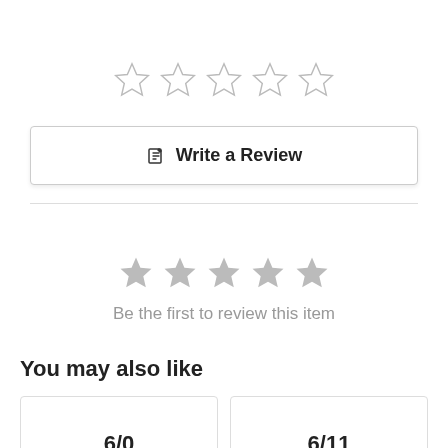[Figure (other): Five empty/outline star rating widget]
✎  Write a Review
[Figure (other): Five filled grey star rating widget]
Be the first to review this item
You may also like
6/0
6/11